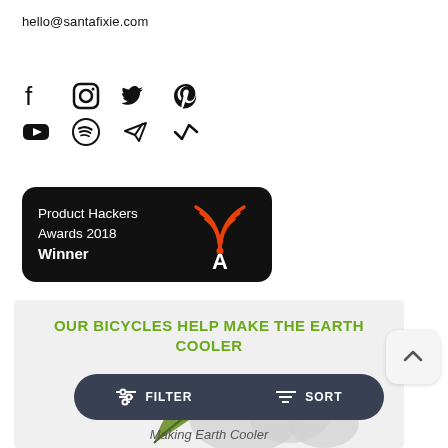hello@santafixie.com
[Figure (infographic): Social media icons: Facebook, Instagram, Twitter, Pinterest (top row); YouTube, Spotify, Telegram, Strava (bottom row)]
[Figure (logo): Product Hackers Awards 2018 Winner badge — black rounded rectangle with white text and orange antenna/wifi logo]
[Figure (infographic): OUR BICYCLES HELP MAKE THE EARTH COOLER — green text on light grey background with cloud and leaf illustration; FILTER and SORT bar at bottom; Making Earth Cooler italic caption]